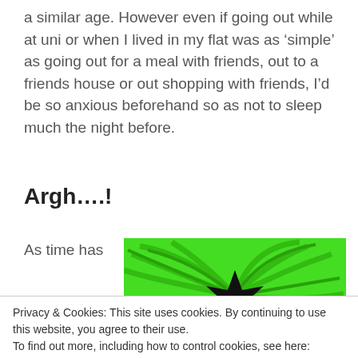a similar age. However even if going out while at uni or when I lived in my flat was as ‘simple’ as going out for a meal with friends, out to a friends house or out shopping with friends, I’d be so anxious beforehand so as not to sleep much the night before.
Argh….!
As time has
[Figure (illustration): Comic-style illustration with bright green swirling background and cartoon speech bubble/explosion shapes in black and white]
Privacy & Cookies: This site uses cookies. By continuing to use this website, you agree to their use.
To find out more, including how to control cookies, see here: Cookie Policy
Close and accept